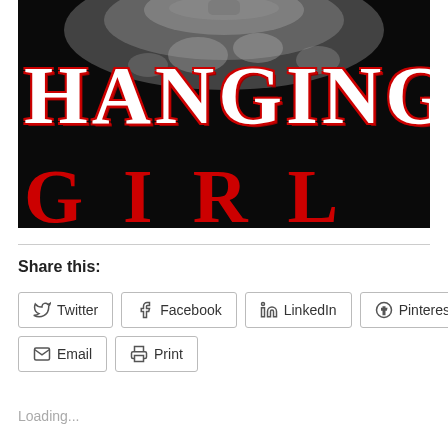[Figure (illustration): Book cover image for 'Hanging Girl' — dark background with chandelier crystal bokeh, large white text 'HANGING' and large red text 'GIRL']
Share this:
Twitter
Facebook
LinkedIn
Pinterest 1
Email
Print
Loading...